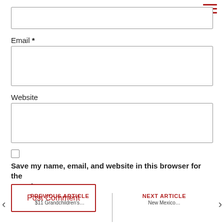[Figure (other): Hamburger menu icon (three horizontal red lines) in top-right corner]
Email *
Website
Save my name, email, and website in this browser for the next time I comment.
Post Comment
PREVIOUS ARTICLE | NEXT ARTICLE